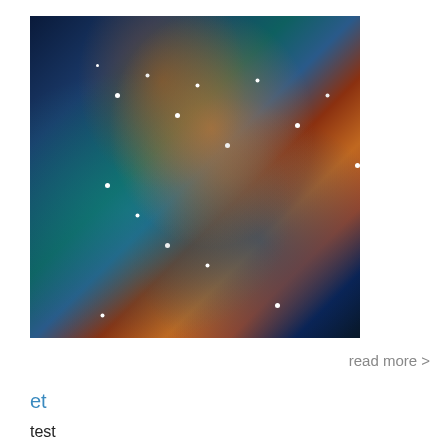[Figure (photo): Hubble-style nebula photo showing colorful space nebula with teal, orange, and purple hues against a star-filled dark background]
read more >
et
test
read more >
[0.74.0]
SHORT DESCRIPTION HERE This is an entry added by sel, published on 2015-07-01 09:45:53.530792
read more >
developer entry no._4